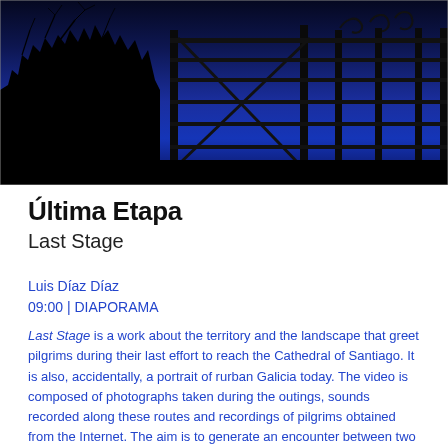[Figure (photo): Dark blue night-time photograph showing silhouettes of trees and branches on the left, and a wrought-iron gate or fence structure on the right against a deep blue sky.]
Última Etapa
Last Stage
Luis Díaz Díaz
09:00 | DIAPORAMA
Last Stage is a work about the territory and the landscape that greet pilgrims during their last effort to reach the Cathedral of Santiago. It is also, accidentally, a portrait of rurban Galicia today. The video is composed of photographs taken during the outings, sounds recorded along these routes and recordings of pilgrims obtained from the Internet. The aim is to generate an encounter between two subjectivities, that of the inhabitants of Santiago and that of the pilgrims approaching their goal.